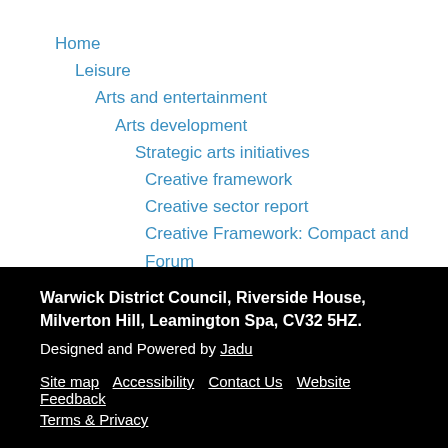Home
Leisure
Arts and entertainment
Arts development
Strategic arts initiatives
Creative framework
Creative sector report
Creative Framework: Compact and Forum
Warwick District Council, Riverside House, Milverton Hill, Leamington Spa, CV32 5HZ. Designed and Powered by Jadu Site map Accessibility Contact Us Website Feedback Terms & Privacy